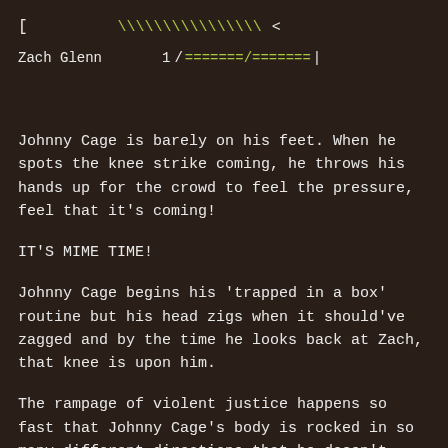[  \\\\\\\\\\\\\\  <
Zach Glenn   1 /=======/=======|
Johnny Cage is barely on his feet. When he spots the knee strike coming, he throws his hands up for the crowd to feel the pressure, feel that it's coming!
IT'S MIME TIME!
Johnny Cage begins his 'trapped in a box' routine but his head zigs when it should've zagged and by the time he looks back at Zach, that knee is upon him.
The rampage of violent justice happens so fast that Johnny Cage's body is rocked in so many different directions that he doesn't even know where to fall when it's done. He just stands there, almost catatonic, long enough to reach up and